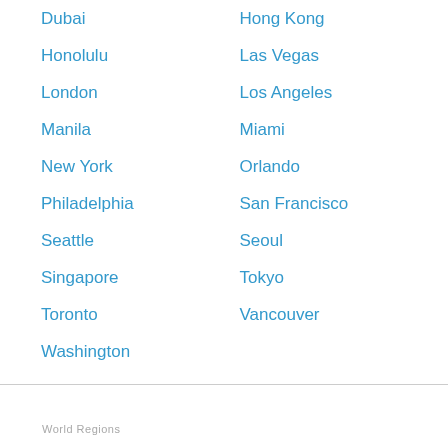Dubai
Hong Kong
Honolulu
Las Vegas
London
Los Angeles
Manila
Miami
New York
Orlando
Philadelphia
San Francisco
Seattle
Seoul
Singapore
Tokyo
Toronto
Vancouver
Washington
World Regions
Africa
Asia
Australia, New Zealand,
Canada